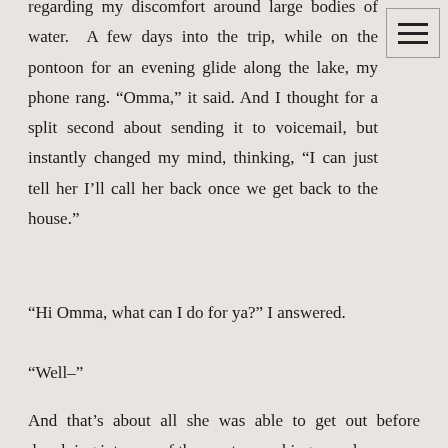regarding my discomfort around large bodies of water. A few days into the trip, while on the pontoon for an evening glide along the lake, my phone rang. “Omma,” it said. And I thought for a split second about sending it to voicemail, but instantly changed my mind, thinking, “I can just tell her I’ll call her back once we get back to the house.”
“Hi Omma, what can I do for ya?” I answered.
“Well–”
And that’s about all she was able to get out before devolving into one of the most wrenching sounds